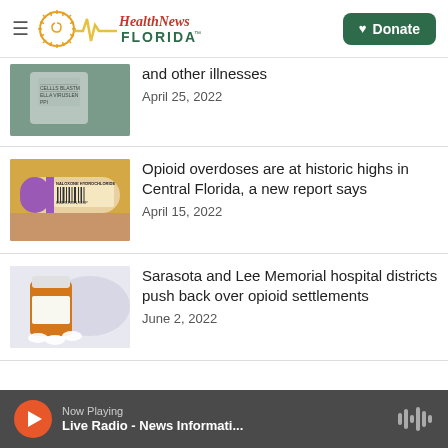Health News Florida — Donate
[Figure (photo): Partial view of a vaccine vial]
and other illnesses
April 25, 2022
[Figure (photo): Naloxone hydrochloride injection vial held in a hand]
Opioid overdoses are at historic highs in Central Florida, a new report says
April 15, 2022
[Figure (photo): Prescription pill bottle spilling white pills]
Sarasota and Lee Memorial hospital districts push back over opioid settlements
June 2, 2022
Now Playing  Live Radio - News Informati...